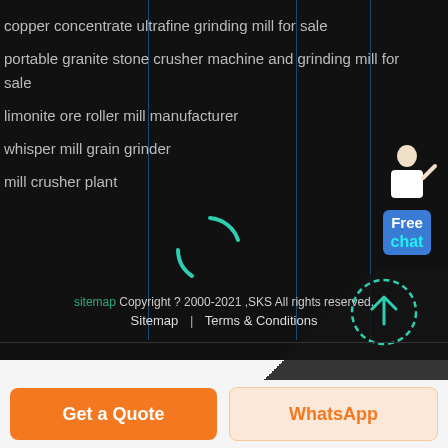copper concentrate ultrafine grinding mill for sale
portable granite stone crusher machine and grinding mill for sale
limonite ore roller mill manufacturer
whisper mill grain grinder
mill crusher plant
[Figure (illustration): Loading spinner (circular arc in teal/green color)]
[Figure (illustration): Customer service chat widget with female avatar figure and blue Free chat button]
[Figure (illustration): Scroll-to-top button: dashed teal circle with upward arrow]
sitemap Copyright ? 2000-2021 ,SKS All rights reserved. Sitemap | Terms & Conditions
Get a Quote
WhatsApp